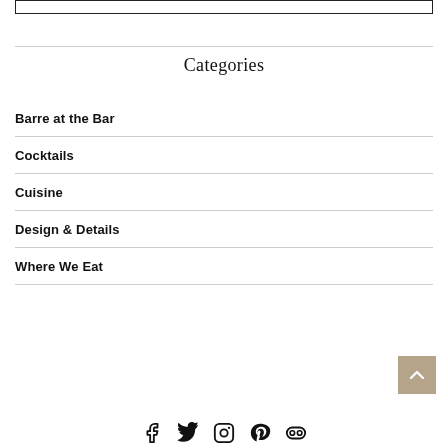[Figure (other): Empty rectangular box outline at top of page]
Categories
Barre at the Bar
Cocktails
Cuisine
Design & Details
Where We Eat
[Figure (other): Scroll-to-top button (tan/beige square with upward chevron arrow)]
[Figure (other): Social media footer icons: Facebook, Twitter, Instagram, Pinterest, Mixcloud]